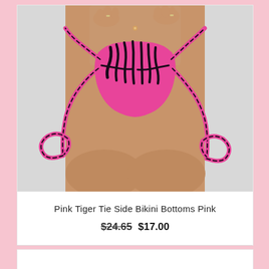[Figure (photo): Product photo of pink tiger print tie-side bikini bottoms. Model wearing pink and black tiger stripe patterned bikini bottoms with tie strings on each side. Light gray background.]
Pink Tiger Tie Side Bikini Bottoms Pink
$24.65 $17.00